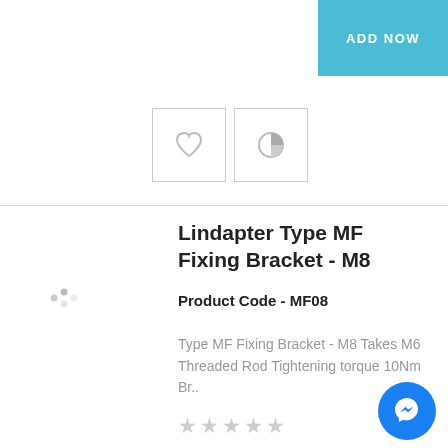ADD NOW
[Figure (screenshot): Two icon buttons with border: a heart icon and a pie/comparison icon]
Lindapter Type MF Fixing Bracket - M8
Product Code - MF08
Type MF Fixing Bracket - M8 Takes M6 Threaded Rod Tightening torque 10Nm Br..
£1.95